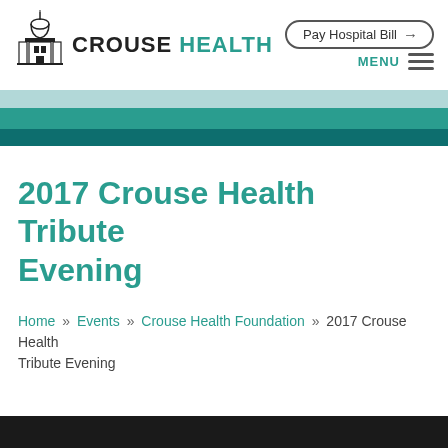[Figure (logo): Crouse Health logo with building/capitol icon and text 'CROUSE HEALTH']
Pay Hospital Bill →
MENU
[Figure (other): Teal gradient banner stripes in three horizontal bands: light blue, teal, dark teal]
2017 Crouse Health Tribute Evening
Home » Events » Crouse Health Foundation » 2017 Crouse Health Tribute Evening
[Figure (photo): Dark/black photo strip at the bottom of the page]